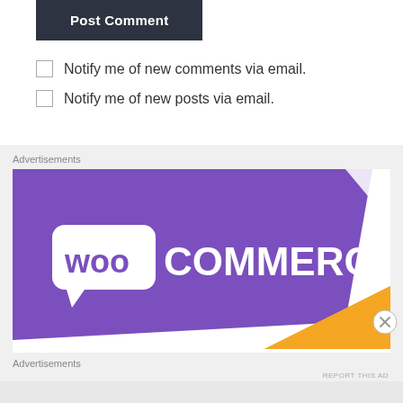Post Comment
Notify me of new comments via email.
Notify me of new posts via email.
Advertisements
[Figure (logo): WooCommerce logo on purple and orange background advertisement banner]
Advertisements